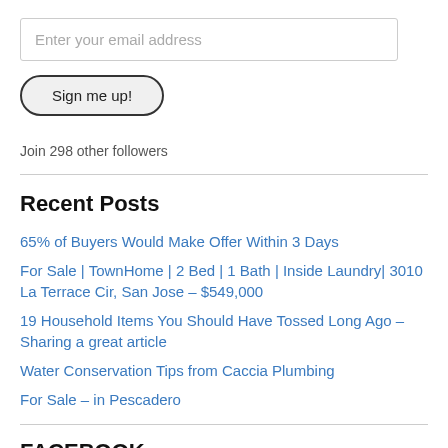Enter your email address
Sign me up!
Join 298 other followers
Recent Posts
65% of Buyers Would Make Offer Within 3 Days
For Sale | TownHome | 2 Bed | 1 Bath | Inside Laundry| 3010 La Terrace Cir, San Jose – $549,000
19 Household Items You Should Have Tossed Long Ago – Sharing a great article
Water Conservation Tips from Caccia Plumbing
For Sale – in Pescadero
FACEBOOK